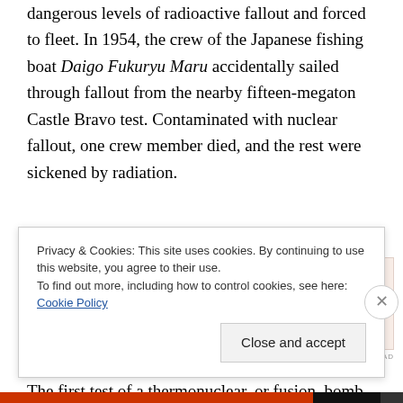dangerous levels of radioactive fallout and forced to fleet. In 1954, the crew of the Japanese fishing boat Daigo Fukuryu Maru accidentally sailed through fallout from the nearby fifteen-megaton Castle Bravo test. Contaminated with nuclear fallout, one crew member died, and the rest were sickened by radiation.
[Figure (other): WordPress advertisement banner with text 'Need a website quickly – and on a budget?' and WordPress logo on a light peach background.]
The first test of a thermonuclear, or fusion, bomb took
Privacy & Cookies: This site uses cookies. By continuing to use this website, you agree to their use. To find out more, including how to control cookies, see here: Cookie Policy